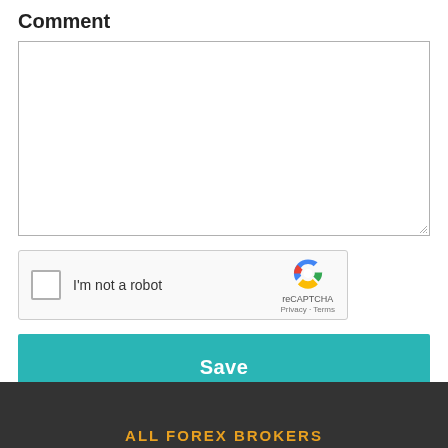Comment
[Figure (screenshot): Empty comment textarea input field with resize handle in bottom-right corner]
[Figure (screenshot): reCAPTCHA widget with checkbox, 'I'm not a robot' text, reCAPTCHA logo, Privacy and Terms links]
[Figure (screenshot): Teal Save button]
ALL FOREX BROKERS